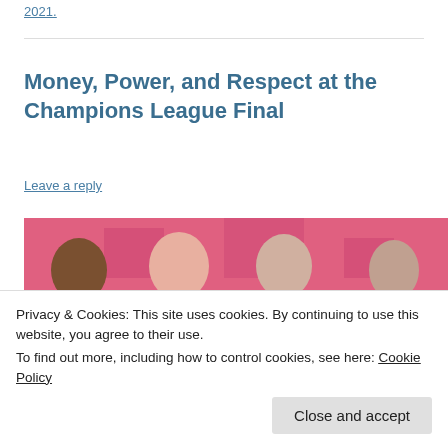2021.
Money, Power, and Respect at the Champions League Final
Leave a reply
[Figure (photo): Stylized pink/magenta graphic showing football player portraits against a pink background]
Privacy & Cookies: This site uses cookies. By continuing to use this website, you agree to their use.
To find out more, including how to control cookies, see here: Cookie Policy
Close and accept